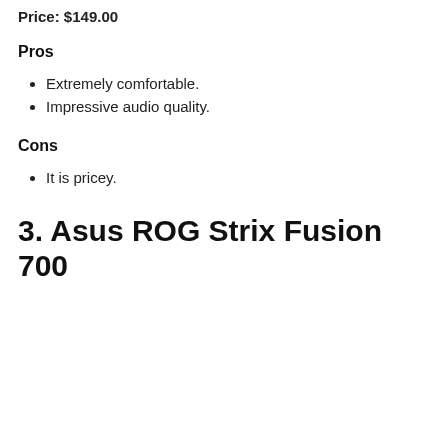Price: $149.00
Pros
Extremely comfortable.
Impressive audio quality.
Cons
It is pricey.
3. Asus ROG Strix Fusion 700